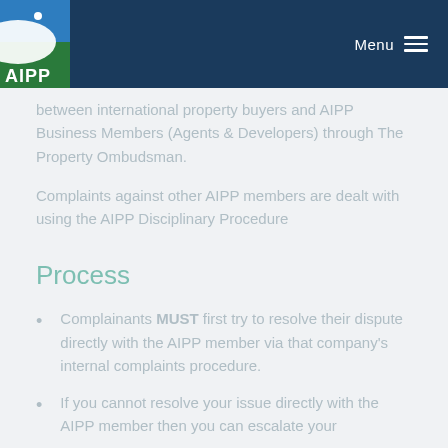AIPP | Menu
between international property buyers and AIPP Business Members (Agents & Developers) through The Property Ombudsman.
Complaints against other AIPP members are dealt with using the AIPP Disciplinary Procedure
Process
Complainants MUST first try to resolve their dispute directly with the AIPP member via that company's internal complaints procedure.
If you cannot resolve your issue directly with the AIPP member then you can escalate your